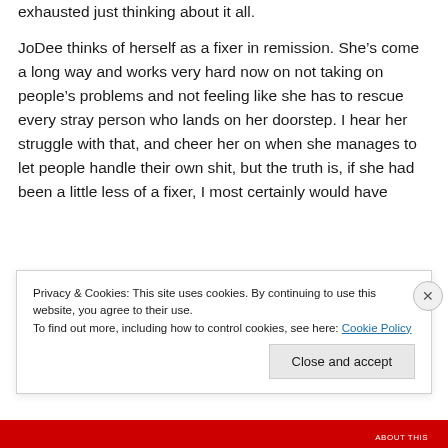exhausted just thinking about it all.
JoDee thinks of herself as a fixer in remission. She's come a long way and works very hard now on not taking on people's problems and not feeling like she has to rescue every stray person who lands on her doorstep. I hear her struggle with that, and cheer her on when she manages to let people handle their own shit, but the truth is, if she had been a little less of a fixer, I most certainly would have
Privacy & Cookies: This site uses cookies. By continuing to use this website, you agree to their use.
To find out more, including how to control cookies, see here: Cookie Policy
Close and accept